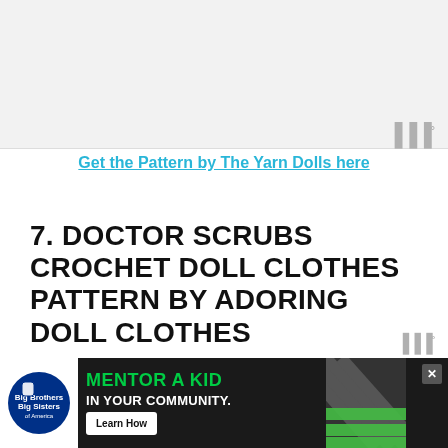[Figure (other): Advertisement placeholder banner at top of page, light gray background]
Get the Pattern by The Yarn Dolls here
7. DOCTOR SCRUBS CROCHET DOLL CLOTHES PATTERN BY ADORING DOLL CLOTHES
Perfect for pretend play, this 18” doll doctor/nurse surgical scrubs outfit is just what the doctor ordered! Your American Girl will look official in emergency!
[Figure (other): Big Brothers Big Sisters advertisement banner: MENTOR A KID IN YOUR COMMUNITY. Learn How button. Dark background with diagonal stripe pattern.]